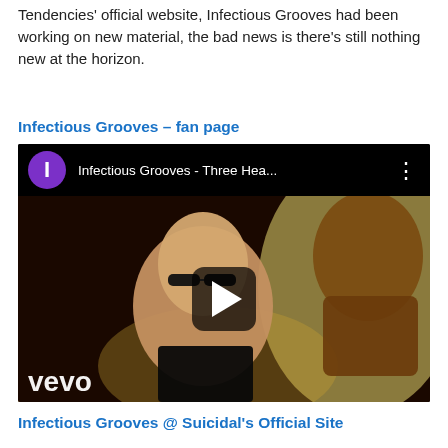Tendencies' official website, Infectious Grooves had been working on new material, the bad news is there's still nothing new at the horizon.
Infectious Grooves – fan page
[Figure (screenshot): YouTube video thumbnail for 'Infectious Grooves - Three Hea...' showing a bald man with sunglasses and a monster figure, with Vevo watermark and play button overlay.]
Infectious Grooves @ Suicidal's Official Site